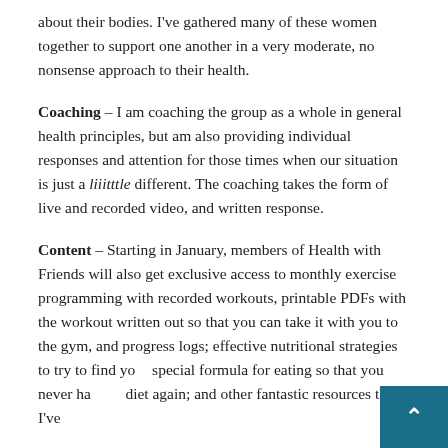about their bodies. I've gathered many of these women together to support one another in a very moderate, no nonsense approach to their health.
Coaching – I am coaching the group as a whole in general health principles, but am also providing individual responses and attention for those times when our situation is just a liiitttle different. The coaching takes the form of live and recorded video, and written response.
Content – Starting in January, members of Health with Friends will also get exclusive access to monthly exercise programming with recorded workouts, printable PDFs with the workout written out so that you can take it with you to the gym, and progress logs; effective nutritional strategies to try to find your special formula for eating so that you never have to diet again; and other fantastic resources that I've